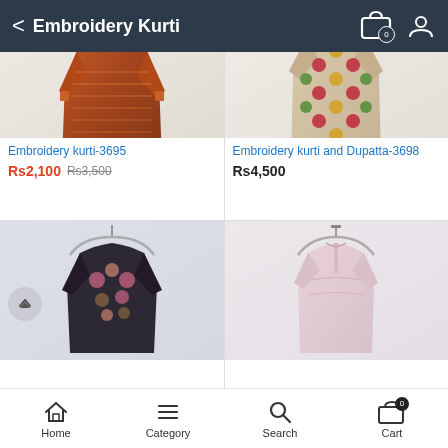Embroidery Kurti
[Figure (photo): Orange/red embroidered kurti laid flat on light blue background]
Embroidery kurti-3695
Rs2,100  Rs3,500
[Figure (photo): Beige kurti with colorful floral embroidery (red, yellow, green dots) on hanger, light background]
Embroidery kurti and Dupatta-3698
Rs4,500
[Figure (photo): Dark/black floral embroidered kurti on hanger]
[Figure (photo): Light pink embroidered kurti on hanger]
Home  Category  Search  Cart